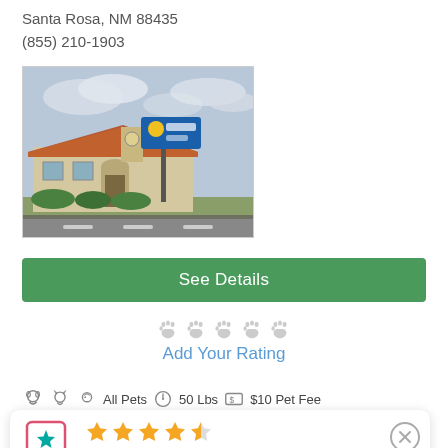Santa Rosa, NM 88435
(855) 210-1903
[Figure (photo): Photo of a Comfort Inn hotel building with red tiled roof, arched entrance, signage on a pole, and landscaping under a partly cloudy sky.]
See Details
[Figure (other): Five paw print icons for rating, all light gray (unselected)]
Add Your Rating
All Pets  50 Lbs  $10 Pet Fee
4.5 Star Rating by TOM C.
09/05/22